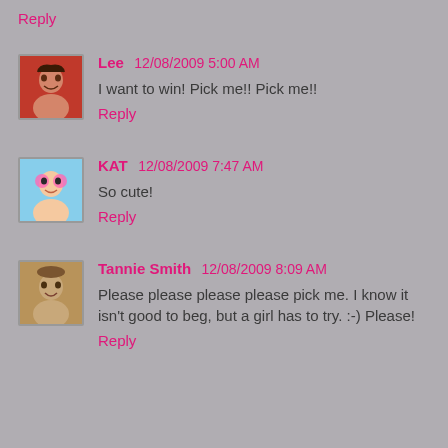Reply
Lee  12/08/2009 5:00 AM
I want to win! Pick me!! Pick me!!
Reply
KAT  12/08/2009 7:47 AM
So cute!
Reply
Tannie Smith  12/08/2009 8:09 AM
Please please please please pick me. I know it isn't good to beg, but a girl has to try. :-) Please!
Reply